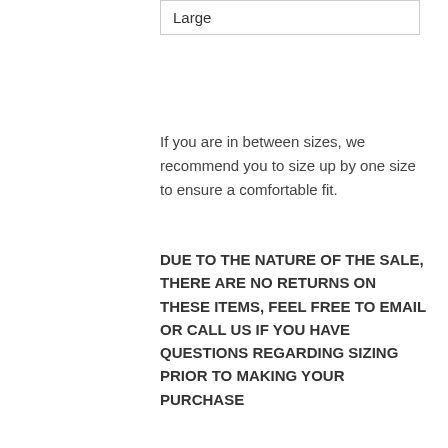| Large |
If you are in between sizes, we recommend you to size up by one size to ensure a comfortable fit.
DUE TO THE NATURE OF THE SALE, THERE ARE NO RETURNS ON THESE ITEMS, FEEL FREE TO EMAIL OR CALL US IF YOU HAVE QUESTIONS REGARDING SIZING PRIOR TO MAKING YOUR PURCHASE